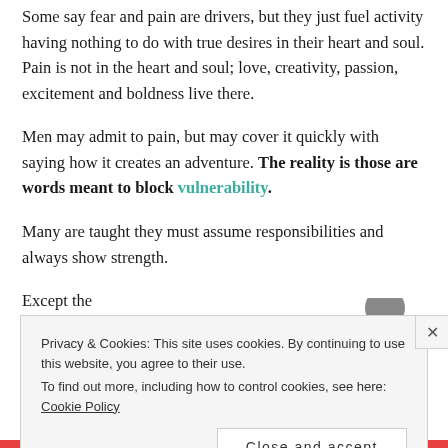Some say fear and pain are drivers, but they just fuel activity having nothing to do with true desires in their heart and soul. Pain is not in the heart and soul; love, creativity, passion, excitement and boldness live there.
Men may admit to pain, but may cover it quickly with saying how it creates an adventure. The reality is those are words meant to block vulnerability.
Many are taught they must assume responsibilities and always show strength.
Except the
Privacy & Cookies: This site uses cookies. By continuing to use this website, you agree to their use. To find out more, including how to control cookies, see here: Cookie Policy
Close and accept